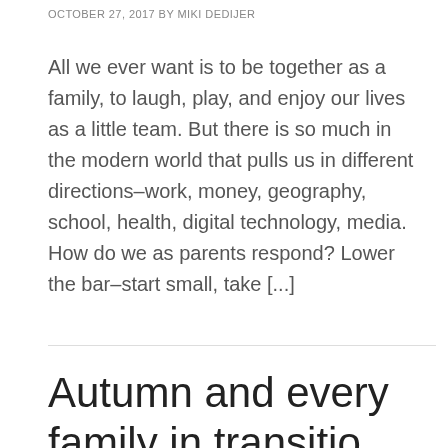OCTOBER 27, 2017 By MIKI DEDIJER
All we ever want is to be together as a family, to laugh, play, and enjoy our lives as a little team. But there is so much in the modern world that pulls us in different directions–work, money, geography, school, health, digital technology, media. How do we as parents respond? Lower the bar–start small, take [...]
Autumn and every family in transition…